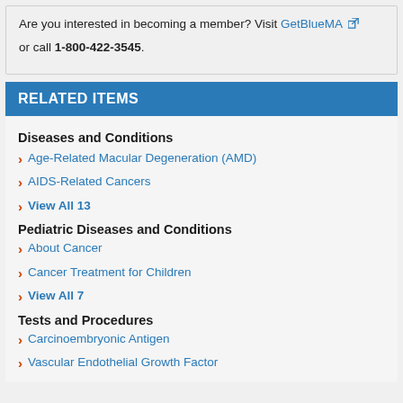Are you interested in becoming a member? Visit GetBlueMA or call 1-800-422-3545.
RELATED ITEMS
Diseases and Conditions
Age-Related Macular Degeneration (AMD)
AIDS-Related Cancers
View All 13
Pediatric Diseases and Conditions
About Cancer
Cancer Treatment for Children
View All 7
Tests and Procedures
Carcinoembryonic Antigen
Vascular Endothelial Growth Factor